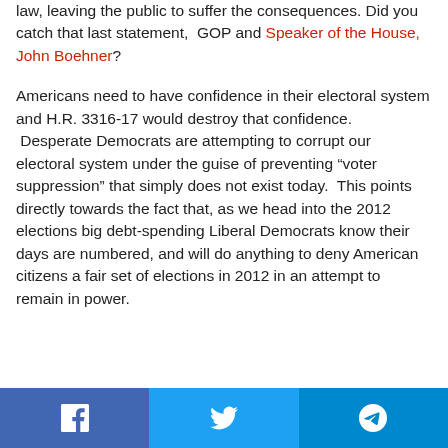law, leaving the public to suffer the consequences. Did you catch that last statement, GOP and Speaker of the House, John Boehner?
Americans need to have confidence in their electoral system and H.R. 3316-17 would destroy that confidence. Desperate Democrats are attempting to corrupt our electoral system under the guise of preventing “voter suppression” that simply does not exist today. This points directly towards the fact that, as we head into the 2012 elections big debt-spending Liberal Democrats know their days are numbered, and will do anything to deny American citizens a fair set of elections in 2012 in an attempt to remain in power.
Facebook | Twitter | Telegram